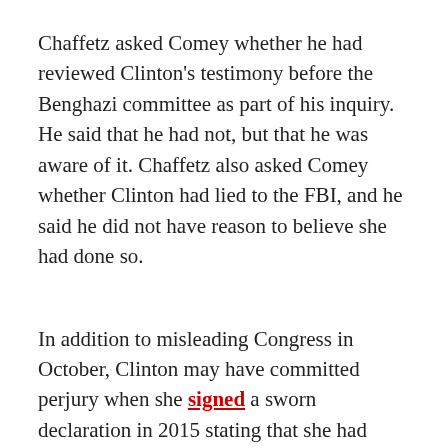Chaffetz asked Comey whether he had reviewed Clinton's testimony before the Benghazi committee as part of his inquiry. He said that he had not, but that he was aware of it. Chaffetz also asked Comey whether Clinton had lied to the FBI, and he said he did not have reason to believe she had done so.
In addition to misleading Congress in October, Clinton may have committed perjury when she signed a sworn declaration in 2015 stating that she had turned over all work-related emails: "While I do not know what information may be